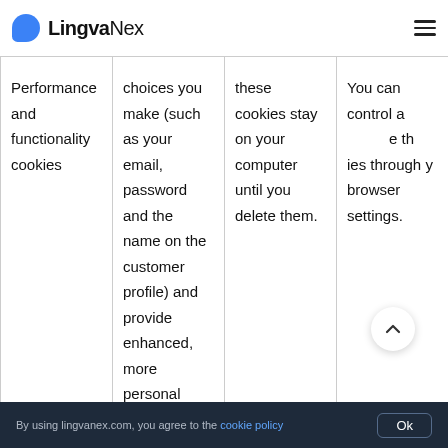LingvaNex
|  |  |  |  |
| --- | --- | --- | --- |
| Performance and functionality cookies | choices you make (such as your email, password and the name on the customer profile) and provide enhanced, more personal features. | these cookies stay on your computer until you delete them. | You can control and these cookies through your browser settings. |
By using lingvanex.com, you agree to the cookie policy  Ok